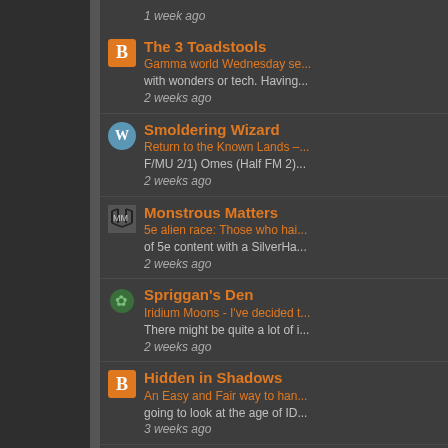1 week ago
The 3 Toadstools - Gamma world Wednesday se... with wonders or tech. Having - 2 weeks ago
Smoldering Wizard - Return to the Known Lands - F/MU 2/1) Omes (Half FM 2) - 2 weeks ago
Monstrous Matters - 5e alien race: Those who hai... of 5e content with a SilverHa... - 2 weeks ago
Spriggan's Den - Iridium Moons - I've decided t... There might be quite a lot of i... - 2 weeks ago
Hidden in Shadows - An Easy and Fair way to han... going to look at the age of ID... - 3 weeks ago
Pits Perilous - Gaming's Central Finite Curve... both publisher and online de... - 3 weeks ago